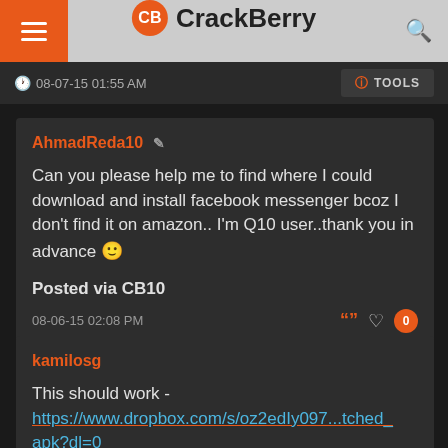CrackBerry
08-07-15 01:55 AM
TOOLS
AhmadReda10
Can you please help me to find where I could download and install facebook messenger bcoz I don't find it on amazon.. I'm Q10 user..thank you in advance 🙂

Posted via CB10
08-06-15 02:08 PM
kamilosg
This should work - https://www.dropbox.com/s/oz2edIy097...tched_apk?dl=0